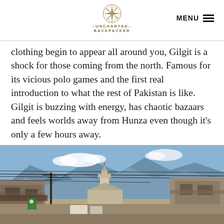–UNCHARTED– BACKPACKER | MENU
clothing begin to appear all around you, Gilgit is a shock for those coming from the north. Famous for its vicious polo games and the first real introduction to what the rest of Pakistan is like. Gilgit is buzzing with energy, has chaotic bazaars and feels worlds away from Hunza even though it's only a few hours away.
[Figure (photo): Street scene in Gilgit, Pakistan with a mosque minaret, power lines, mountain backdrop, and market buildings on either side]